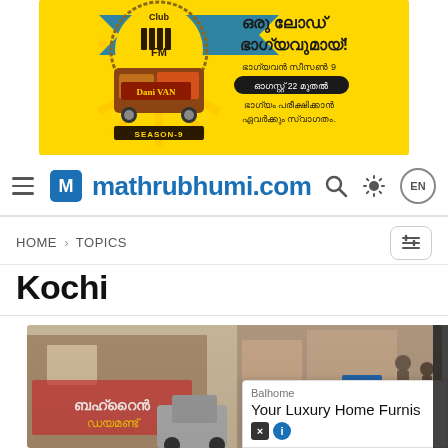[Figure (advertisement): Yellow advertisement banner for Club FM Radio. Shows a retro auto-rickshaw van graphic with text 'Club FM', 'Dani Van', 'SEASON-9', and Malayalam text reading 'ഒരു ലോഡ് ഭാഗ്യവുമായ്! ഭാഗ്യവാൻ സീസൺ 9 ഓഗസ്റ്റ് 22 മുതൽ ഭാഗ്യം പരീക്ഷിക്കാൻ ഏവർക്കും സ്വാഗതം.']
mathrubhumi.com
HOME › TOPICS
Kochi
[Figure (photo): Street scene photo showing a crowded narrow lane in what appears to be an Indian city, with Malayalam signboards, vehicles, and buildings visible.]
[Figure (advertisement): Small overlay advertisement for 'Balhome - Your Luxury Home Furnis...' with a close button (×) icon.]